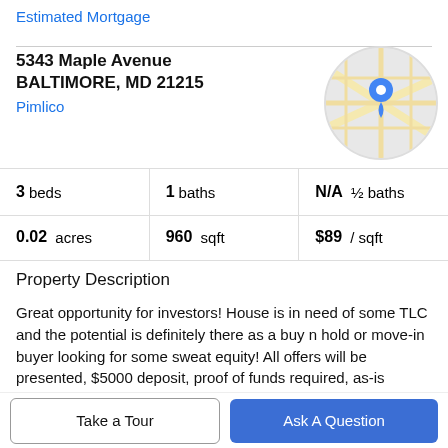Estimated Mortgage
5343 Maple Avenue
BALTIMORE, MD 21215
Pimlico
[Figure (map): Circular map thumbnail showing a street map with a blue location pin marker for the property address in Baltimore, MD.]
3 beds | 1 baths | N/A ½ baths
0.02 acres | 960 sqft | $89 / sqft
Property Description
Great opportunity for investors! House is in need of some TLC and the potential is definitely there as a buy n hold or move-in buyer looking for some sweat equity! All offers will be presented, $5000 deposit, proof of funds required, as-is
sale, the buyer is responsible for L&I. Cash or hard money
Take a Tour
Ask A Question